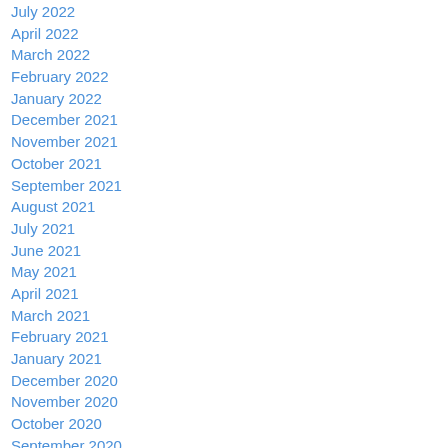July 2022
April 2022
March 2022
February 2022
January 2022
December 2021
November 2021
October 2021
September 2021
August 2021
July 2021
June 2021
May 2021
April 2021
March 2021
February 2021
January 2021
December 2020
November 2020
October 2020
September 2020